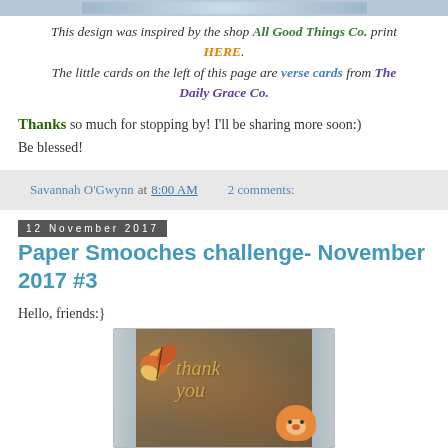[Figure (photo): Top partial image strip showing a decorative item]
This design was inspired by the shop All Good Things Co. print HERE. The little cards on the left of this page are verse cards from The Daily Grace Co.
Thanks so much for stopping by! I'll be sharing more soon:) Be blessed!
Savannah O'Gwynn at 8:00 AM   2 comments:
12 November 2017
Paper Smooches challenge- November 2017 #3
Hello, friends:}
[Figure (photo): Handmade thank you card with autumn leaves, fox, and lace border on brown background with gold 'thank you' text]